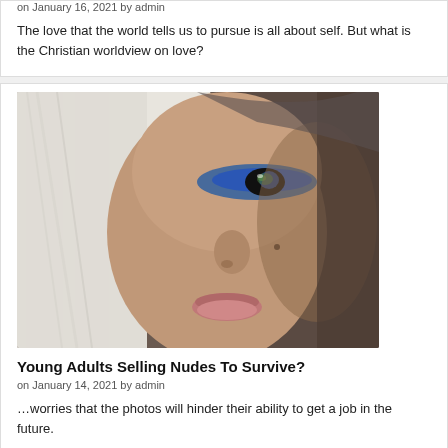on January 16, 2021 by admin
The love that the world tells us to pursue is all about self. But what is the Christian worldview on love?
[Figure (photo): Close-up portrait of a young woman with platinum blonde hair and blue eye makeup]
Young Adults Selling Nudes To Survive?
on January 14, 2021 by admin
…worries that the photos will hinder their ability to get a job in the future.